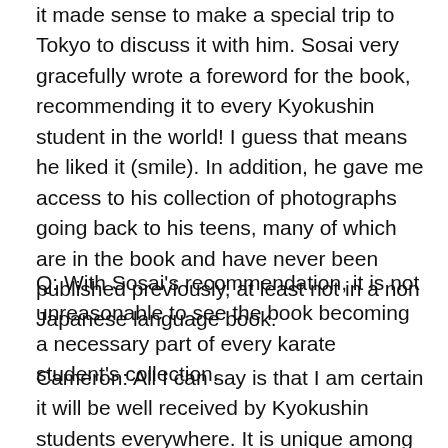it made sense to make a special trip to Tokyo to discuss it with him. Sosai very gracefully wrote a foreword for the book, recommending it to every Kyokushin student in the world! I guess that means he liked it (smile). In addition, he gave me access to his collection of photographs going back to his teens, many of which are in the book and have never been published previously, at least not in a non Japanese language book.
Q: With Sosai's recommendation, it is not unreasonable to see the book becoming a necessary part of every karate student's collection.
Cameron: All I can say is that I am certain it will be well received by Kyokushin students everywhere. It is unique among karate books and the information it contains is valuable to anyone interested in improving their understanding of Kyokushin and the philosophy of Budo in